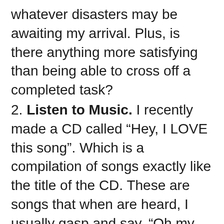whatever disasters may be awaiting my arrival. Plus, is there anything more satisfying than being able to cross off a completed task?
2. Listen to Music. I recently made a CD called “Hey, I LOVE this song”. Which is a compilation of songs exactly like the title of the CD. These are songs that when are heard, I usually gasp and say, “Oh my god I love this one…” You know what I am talking about. It probably wouldn’t take you long to create your own list given 20 minutes. I play these songs at the gym, when I doing house chores, and in the car. My kids have learned to love these songs as well because when these special songs